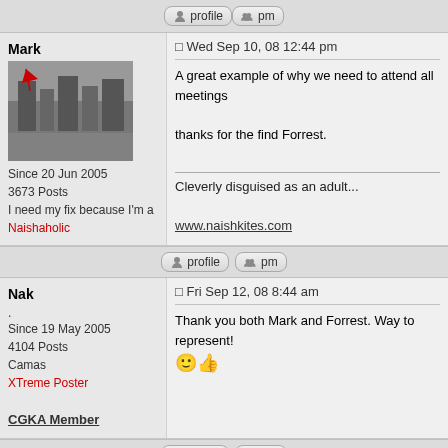[Figure (screenshot): Forum post buttons (profile, pm) in top bar]
Mark
Since 20 Jun 2005
3673 Posts
I need my fix because I'm a
Naishaholic
Wed Sep 10, 08 12:44 pm
A great example of why we need to attend all meetings
thanks for the find Forrest.
Cleverly disguised as an adult...
www.naishkites.com
[Figure (screenshot): Forum post buttons (profile, pm) for Mark post]
Nak
.
Since 19 May 2005
4104 Posts
Camas
XTreme Poster
CGKA Member
Fri Sep 12, 08 8:44 am
Thank you both Mark and Forrest. Way to represent!
[Figure (screenshot): Forum post buttons (profile, pm) for Nak post]